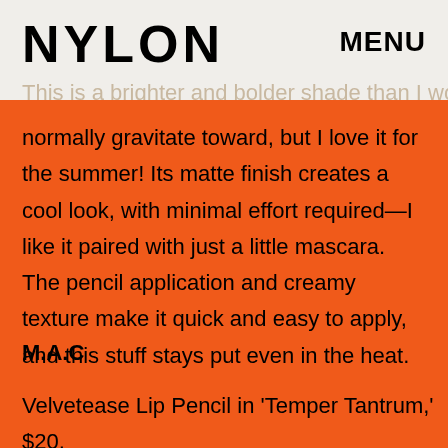NYLON   MENU
This is a brighter and bolder shade than I would normally gravitate toward, but I love it for the summer! Its matte finish creates a cool look, with minimal effort required—I like it paired with just a little mascara. The pencil application and creamy texture make it quick and easy to apply, and this stuff stays put even in the heat.
M.A.C
Velvetease Lip Pencil in 'Temper Tantrum,' $20, available at